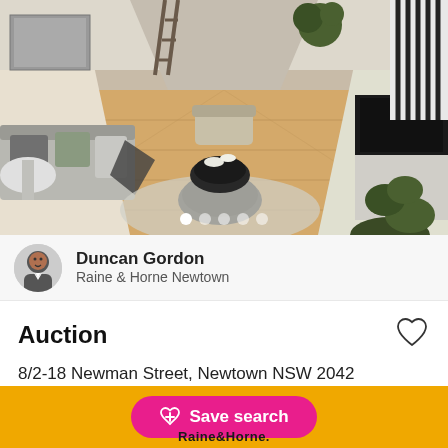[Figure (photo): Interior photo of a modern open-plan living room with timber floors, grey sofa, black coffee table, and striped staircase wall. Carousel with 5 dots shown at bottom.]
Duncan Gordon
Raine & Horne Newtown
Auction
8/2-18 Newman Street, Newtown NSW 2042
2  2  1
House for Sale • 17 days on Homely
Save search
Raine&Horne.